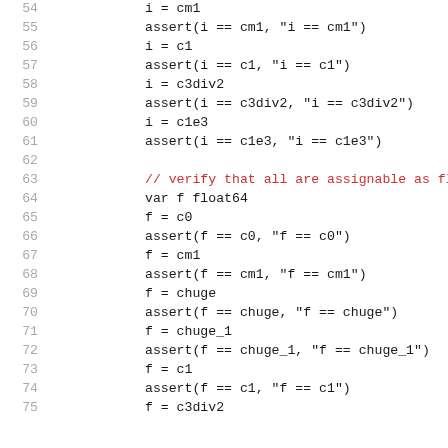54    i = cm1
55    assert(i == cm1, "i == cm1")
56    i = c1
57    assert(i == c1, "i == c1")
58    i = c3div2
59    assert(i == c3div2, "i == c3div2")
60    i = c1e3
61    assert(i == c1e3, "i == c1e3")
62
63    // verify that all are assignable as fl...
64    var f float64
65    f = c0
66    assert(f == c0, "f == c0")
67    f = cm1
68    assert(f == cm1, "f == cm1")
69    f = chuge
70    assert(f == chuge, "f == chuge")
71    f = chuge_1
72    assert(f == chuge_1, "f == chuge_1")
73    f = c1
74    assert(f == c1, "f == c1")
75    f = c3div2